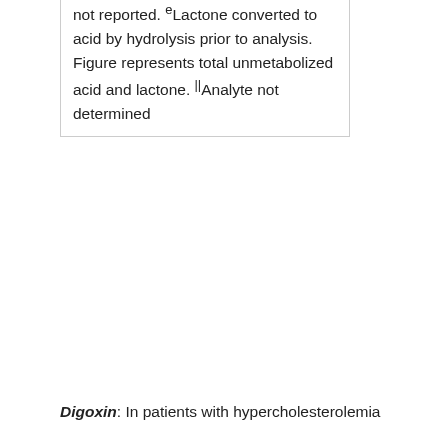| not reported. eLactone converted to acid by hydrolysis prior to analysis. Figure represents total unmetabolized acid and lactone. ||Analyte not determined |
Digoxin: In patients with hypercholesterolemia